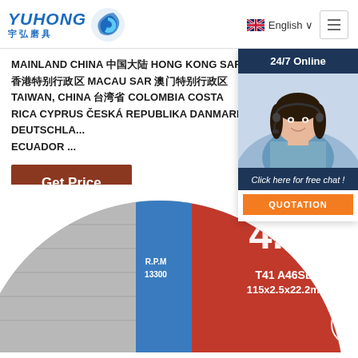[Figure (logo): YUHONG 宇弘磨具 logo with blue wave/swirl icon]
English
MAINLAND China 中国大陆 Hong Kong SAR 香港特别行政区 Macau SAR 澳门特别行政区 Taiwan, China 台湾省 Colombia Costa Rica Cyprus Česká republika Danmark Deutschland Ecuador ...
Get Price
24/7 Online
[Figure (photo): Customer service woman wearing headset, smiling]
Click here for free chat !
QUOTATION
[Figure (photo): Red and blue 4.5 inch cutting disc labeled T41 A46SBF 115x2.5x22.2mm R.P.M 13300 with TOP, ISO 9001 and MPA TESTED certification badges]